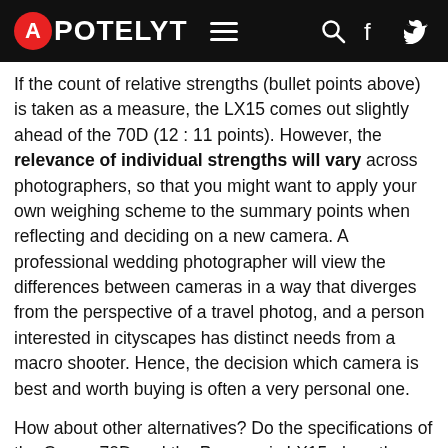APOTELYT
If the count of relative strengths (bullet points above) is taken as a measure, the LX15 comes out slightly ahead of the 70D (12 : 11 points). However, the relevance of individual strengths will vary across photographers, so that you might want to apply your own weighing scheme to the summary points when reflecting and deciding on a new camera. A professional wedding photographer will view the differences between cameras in a way that diverges from the perspective of a travel photog, and a person interested in cityscapes has distinct needs from a macro shooter. Hence, the decision which camera is best and worth buying is often a very personal one.
How about other alternatives? Do the specifications of the Canon 70D and the Panasonic LX15 place the cameras among the top in their class? Find out in the latest Best DSLR Camera and Best Travel-Zoom Camera listings whether the two cameras rank among the cream of the crop.
In any case, while the specs-based evaluation of cameras